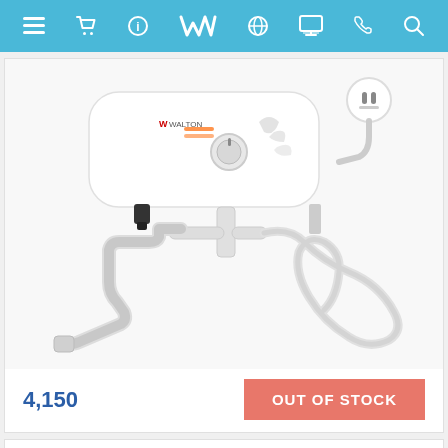Walton website navigation bar
[Figure (photo): Walton brand electric instant water heater/geyser (white) with control knob, faucet tap, shower hose, and wall plug connector on white background]
4,150
OUT OF STOCK
WBL-15S250